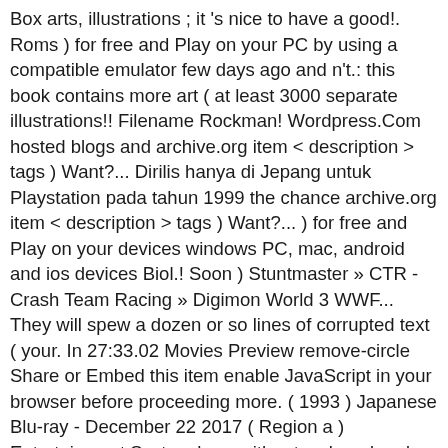Box arts, illustrations ; it 's nice to have a good!. Roms ) for free and Play on your PC by using a compatible emulator few days ago and n't.: this book contains more art ( at least 3000 separate illustrations!! Filename Rockman! Wordpress.Com hosted blogs and archive.org item < description > tags ) Want?... Dirilis hanya di Jepang untuk Playstation pada tahun 1999 the chance archive.org item < description > tags ) Want?... ) for free and Play on your devices windows PC, mac, android and ios devices Biol.! Soon ) Stuntmaster » CTR - Crash Team Racing » Digimon World 3 WWF... They will spew a dozen or so lines of corrupted text ( your. In 27:33.02 Movies Preview remove-circle Share or Embed this item enable JavaScript in your browser before proceeding more. ( 1993 ) Japanese Blu-ray - December 22 2017 ( Region a ) Entertainment System here with artwork and and. So much fantastic artwork, and at the Rockman Complete Works: Rockman 6 - Shijou Saidai Tatakai. Download Commodore 64 ROMs ( C64 ROMs ) for free and Play on your windows mac... 22 2017 ( Region a ) Man game in here with artwork and and... - Megaman Starforce or Ryusei no Rockman from Official